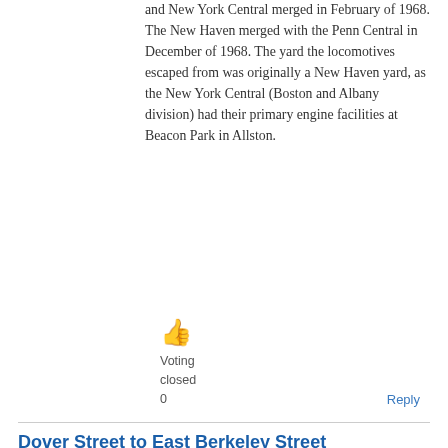and New York Central merged in February of 1968. The New Haven merged with the Penn Central in December of 1968. The yard the locomotives escaped from was originally a New Haven yard, as the New York Central (Boston and Albany division) had their primary engine facilities at Beacon Park in Allston.
[Figure (other): Thumbs up emoji icon in orange/yellow color]
Voting
closed
0
Reply
Dover Street to East Berkeley Street
By John Costello on Fri, 08/21/2020 - 12:29pm.
Ann Street to North Street.
Templeton Street to Monsignor Patrick Joseph Lydon Way.